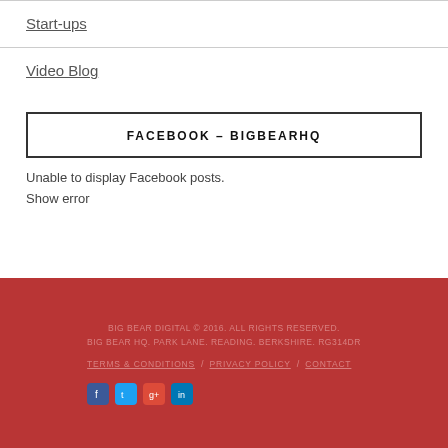Start-ups
Video Blog
FACEBOOK – BIGBEARHQ
Unable to display Facebook posts.
Show error
BIG BEAR DIGITAL © 2016. ALL RIGHTS RESERVED.
BIG BEAR HQ. PARK LANE. READING. BERKSHIRE. RG314DR

TERMS & CONDITIONS / PRIVACY POLICY / CONTACT